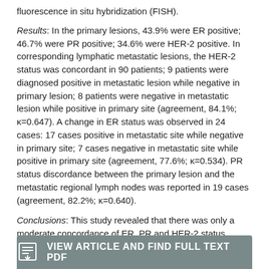fluorescence in situ hybridization (FISH).
Results: In the primary lesions, 43.9% were ER positive; 46.7% were PR positive; 34.6% were HER-2 positive. In corresponding lymphatic metastatic lesions, the HER-2 status was concordant in 90 patients; 9 patients were diagnosed positive in metastatic lesion while negative in primary lesion; 8 patients were negative in metastatic lesion while positive in primary site (agreement, 84.1%; κ=0.647). A change in ER status was observed in 24 cases: 17 cases positive in metastatic site while negative in primary site; 7 cases negative in metastatic site while positive in primary site (agreement, 77.6%; κ=0.534). PR status discordance between the primary lesion and the metastatic regional lymph nodes was reported in 19 cases (agreement, 82.2%; κ=0.640).
Conclusions: This study revealed that there was only a moderate concordance of ER, PR and HER-2 status between primary tumors and metastatic lymph nodes. These results indicate that it was inappropriate to predict the status of ER, PR and HER-2 in metastatic lymph nodes based on the results of evaluation of that in primary lesions.
VIEW ARTICLE AND FIND FULL TEXT PDF